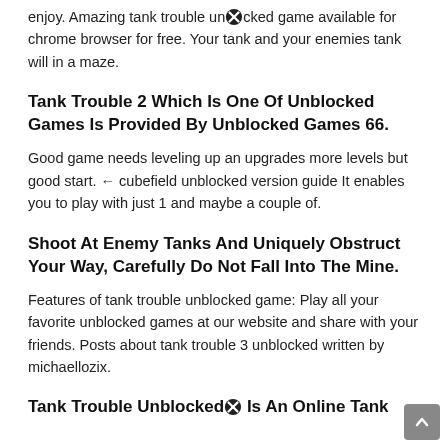enjoy. Amazing tank trouble unblocked game available for chrome browser for free. Your tank and your enemies tank will in a maze.
Tank Trouble 2 Which Is One Of Unblocked Games Is Provided By Unblocked Games 66.
Good game needs leveling up an upgrades more levels but good start. ← cubefield unblocked version guide It enables you to play with just 1 and maybe a couple of.
Shoot At Enemy Tanks And Uniquely Obstruct Your Way, Carefully Do Not Fall Into The Mine.
Features of tank trouble unblocked game: Play all your favorite unblocked games at our website and share with your friends. Posts about tank trouble 3 unblocked written by michaellozix.
Tank Trouble Unblocked Is An Online Tank